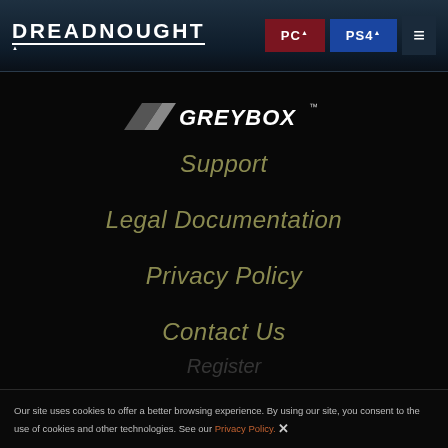DREADNOUGHT | PC | PS4 | Menu
[Figure (logo): GREYBOX™ company logo with grey angular shape and stylized text]
Support
Legal Documentation
Privacy Policy
Contact Us
Register
Log In >
Our site uses cookies to offer a better browsing experience. By using our site, you consent to the use of cookies and other technologies. See our Privacy Policy.